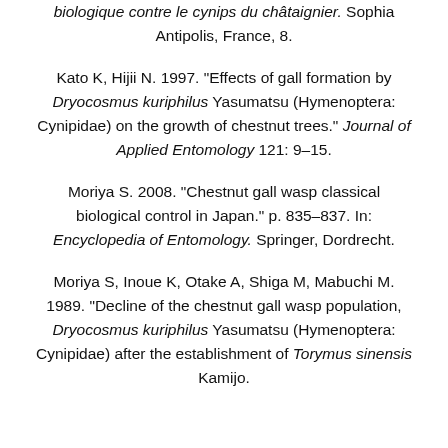biologique contre le cynips du châtaignier. Sophia Antipolis, France, 8.
Kato K, Hijii N. 1997. "Effects of gall formation by Dryocosmus kuriphilus Yasumatsu (Hymenoptera: Cynipidae) on the growth of chestnut trees." Journal of Applied Entomology 121: 9–15.
Moriya S. 2008. "Chestnut gall wasp classical biological control in Japan." p. 835–837. In: Encyclopedia of Entomology. Springer, Dordrecht.
Moriya S, Inoue K, Otake A, Shiga M, Mabuchi M. 1989. "Decline of the chestnut gall wasp population, Dryocosmus kuriphilus Yasumatsu (Hymenoptera: Cynipidae) after the establishment of Torymus sinensis Kamijo.